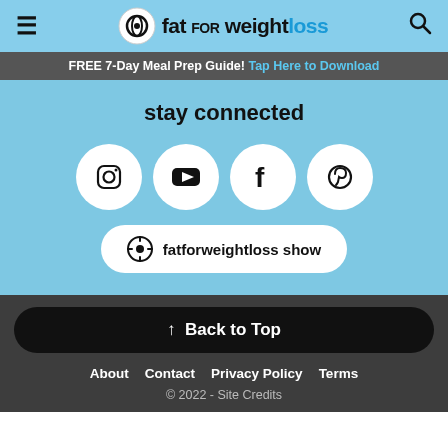fat for weightloss
FREE 7-Day Meal Prep Guide! Tap Here to Download
stay connected
[Figure (infographic): Social media icons: Instagram, YouTube, Facebook, Pinterest in white circles on light blue background, plus podcast button labeled 'fatforweightloss show']
↑ Back to Top
About  Contact  Privacy Policy  Terms
© 2022 - Site Credits